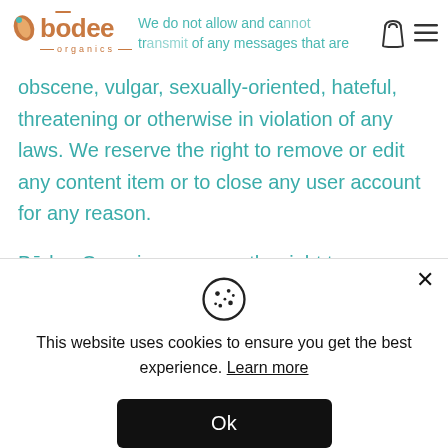[Figure (logo): Bodee Organics logo with leaf icon, stylized name in teal/brown, and 'organics' subtitle]
We do not allow and cannot transmit any messages that are obscene, vulgar, sexually-oriented, hateful, threatening or otherwise in violation of any laws. We reserve the right to remove or edit any content item or to close any user account for any reason.
Bōdee Organics reserves the right to re-publish
[Figure (screenshot): Cookie consent popup overlay with cookie icon, message 'This website uses cookies to ensure you get the best experience. Learn more', and an Ok button. Close X button in top right.]
not be able to remove your personal information, in